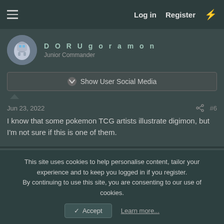Log in  Register
[Figure (illustration): Avatar image of DORUgoramon user (robot/mech character)]
D O R U g o r a m o n   Junior Commander
Show User Social Media
Jun 23, 2022   #6
I know that some pokemon TCG artists illustrate digimon, but I'm not sure if this is one of them.
[Figure (illustration): Avatar circle with letter R for user riderdimension]
riderdimension   Ain't got no mojo...
This site uses cookies to help personalise content, tailor your experience and to keep you logged in if you register.
By continuing to use this site, you are consenting to our use of cookies.
Accept   Learn more...